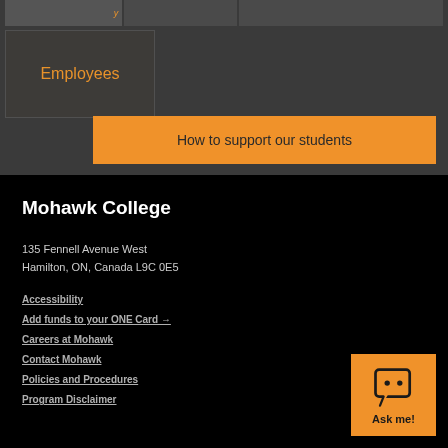Employees
How to support our students
Mohawk College
135 Fennell Avenue West
Hamilton, ON, Canada L9C 0E5
Accessibility
Add funds to your ONE Card →
Careers at Mohawk
Contact Mohawk
Policies and Procedures
Program Disclaimer
[Figure (illustration): Orange Ask me! chatbot button with speech bubble icon]